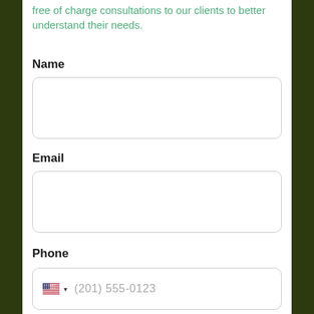free of charge consultations to our clients to better understand their needs.
Name
[Figure (screenshot): Empty text input field for Name with rounded border]
Email
[Figure (screenshot): Empty text input field for Email with rounded border]
Phone
[Figure (screenshot): Phone input field with US flag selector and placeholder (201) 555-0123]
Service Requested
[Figure (screenshot): Partially visible dropdown/input field for Service Requested]